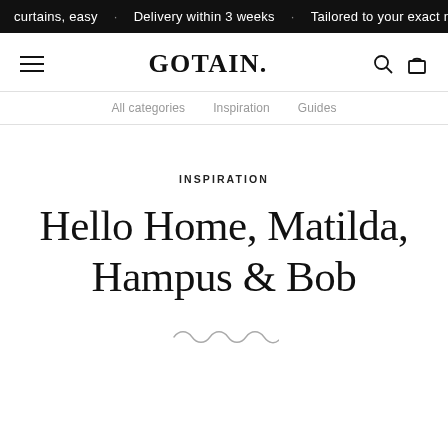curtains, easy · Delivery within 3 weeks · Tailored to your exact n
[Figure (logo): GOTAIN. logo with hamburger menu, search icon, and shopping bag icon]
All categories   Inspiration   Guides
INSPIRATION
Hello Home, Matilda, Hampus & Bob